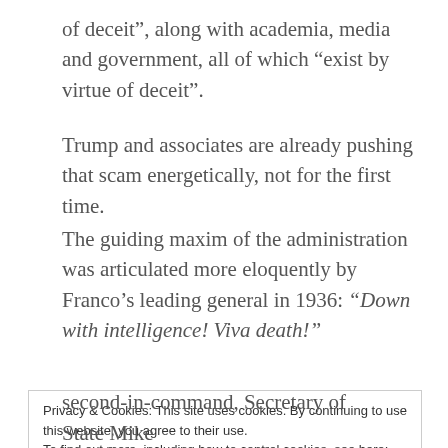of deceit”, along with academia, media and government, all of which “exist by virtue of deceit”.
Trump and associates are already pushing that scam energetically, not for the first time.
The guiding maxim of the administration was articulated more eloquently by Franco’s leading general in 1936: “Down with intelligence! Viva death!”
Privacy & Cookies: This site uses cookies. By continuing to use this website, you agree to their use.
To find out more, including how to control cookies, see here: Cookie Policy
second-in-command, Secretary of State Mike